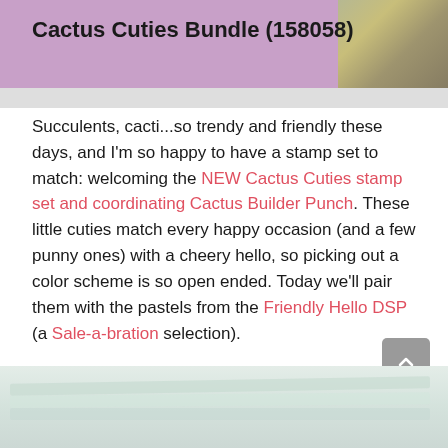Cactus Cuties Bundle (158058)
Succulents, cacti...so trendy and friendly these days, and I'm so happy to have a stamp set to match: welcoming the NEW Cactus Cuties stamp set and coordinating Cactus Builder Punch. These little cuties match every happy occasion (and a few punny ones) with a cheery hello, so picking out a color scheme is so open ended. Today we'll pair them with the pastels from the Friendly Hello DSP (a Sale-a-bration selection).
[Figure (photo): Bottom image showing pastel paper or cardstock stacked, light green and blue tones]